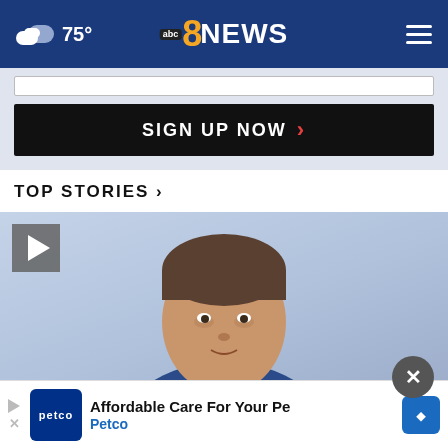75° abc8NEWS
[Figure (screenshot): Sign up now button with input field on light blue-grey background]
TOP STORIES ›
[Figure (photo): Video thumbnail of a man in a blue suit with a play button overlay and close (X) button]
[Figure (infographic): Petco advertisement banner: Affordable Care For Your Pe... / Petco]